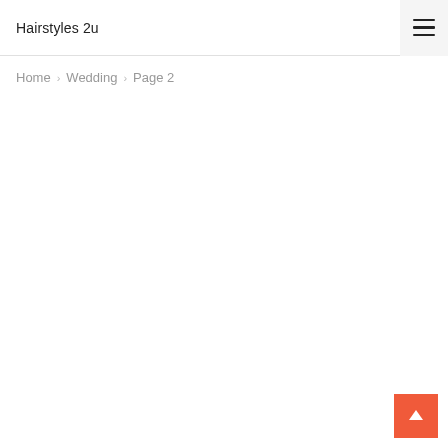Hairstyles 2u
Home > Wedding > Page 2
[Figure (other): Back to top button — orange/red square with white upward arrow]